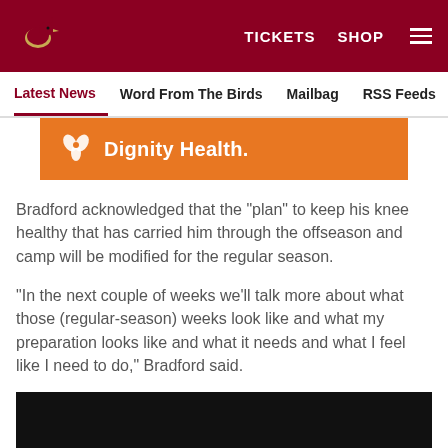Arizona Cardinals — TICKETS  SHOP  [menu]
Latest News  Word From The Birds  Mailbag  RSS Feeds  Carde...
[Figure (logo): Dignity Health orange banner with logo and text]
Bradford acknowledged that the "plan" to keep his knee healthy that has carried him through the offseason and camp will be modified for the regular season.
"In the next couple of weeks we'll talk more about what those (regular-season) weeks look like and what my preparation looks like and what it needs and what I feel like I need to do," Bradford said.
[Figure (photo): Black image/video placeholder]
[Figure (other): Social sharing icons: Facebook, Twitter, Email, Link]